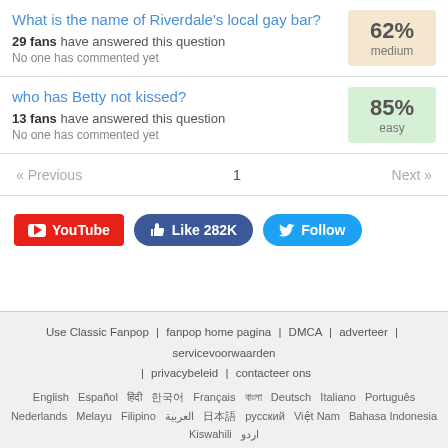What is the name of Riverdale's local gay bar?
29 fans have answered this question
No one has commented yet
who has Betty not kissed?
13 fans have answered this question
No one has commented yet
« Previous   1   Next »
[Figure (other): Social media buttons: YouTube, Like 282K, Follow]
Use Classic Fanpop | fanpop home pagina | DMCA | adverteer | servicevoorwaarden | privacybeleid | contacteer ons
English Español हिंदी 한국어 Français বাংলা Deutsch Italiano Português Nederlands Melayu Filipino العربية 日本語 русский Việt Nam Bahasa Indonesia Kiswahili اردو